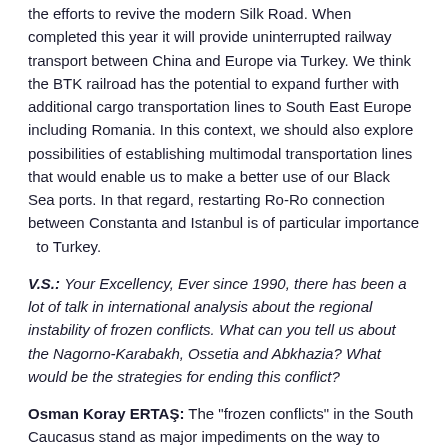the efforts to revive the modern Silk Road. When completed this year it will provide uninterrupted railway transport between China and Europe via Turkey. We think the BTK railroad has the potential to expand further with additional cargo transportation lines to South East Europe including Romania. In this context, we should also explore possibilities of establishing multimodal transportation lines that would enable us to make a better use of our Black Sea ports. In that regard, restarting Ro-Ro connection between Constanta and Istanbul is of particular importance  to Turkey.
V.S.: Your Excellency, Ever since 1990, there has been a lot of talk in international analysis about the regional instability of frozen conflicts. What can you tell us about the Nagorno-Karabakh, Ossetia and Abkhazia? What would be the strategies for ending this conflict?
Osman Koray ERTAŞ: The "frozen conflicts" in the South Caucasus stand as major impediments on the way to regional stability, cooperation and integration, preventing the realization of the region's full potential. Last year's military attacks along the contact line in Nagorno-Karabakh confirmed once again that the status-quo is not sustainable and that these conflicts can no longer be regarded as "frozen". We believe a lasting peace can only be achieved at the negotiation table through peaceful means within the territorial integrity and sovereignty of Azerbaijan and Georgia. We stand ready